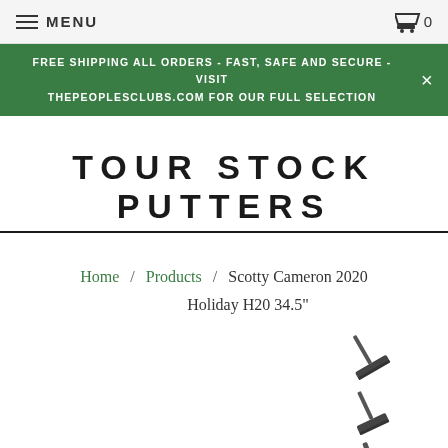MENU  🛒 0
FREE SHIPPING ALL ORDERS - FAST, SAFE AND SECURE - VISIT THEPEOPLESCLUBS.COM FOR OUR FULL SELECTION
TOUR STOCK PUTTERS
Home / Products / Scotty Cameron 2020 Holiday H20 34.5"
[Figure (photo): Three golf putter silhouettes shown on the right side of the page at different angles]